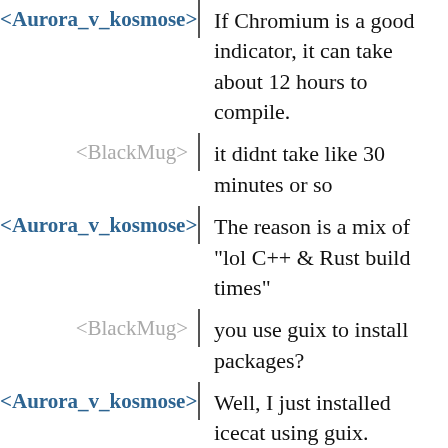<Aurora_v_kosmose> If Chromium is a good indicator, it can take about 12 hours to compile.
<BlackMug> it didnt take like 30 minutes or so
<Aurora_v_kosmose> The reason is a mix of "lol C++ & Rust build times"
<BlackMug> you use guix to install packages?
<Aurora_v_kosmose> Well, I just installed icecat using guix.
<Aurora_v_kosmose> But it's not using that version for icedove.
<BlackMug> your case seems more